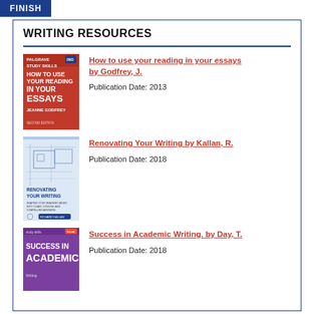FINISH
WRITING RESOURCES
[Figure (illustration): Book cover: Palgrave Study Skills – How to Use Your Reading in Your Essays by Jeanne Godfrey, red cover with white text]
How to use your reading in your essays by Godfrey, J.
Publication Date: 2013
[Figure (illustration): Book cover: Renovating Your Writing by Richard Kallan, light blue cover with blueprint/architectural drawings]
Renovating Your Writing by Kallan, R.
Publication Date: 2018
[Figure (illustration): Book cover: Success in Academic Writing by Day, T., purple cover with white text]
Success in Academic Writing. by Day, T.
Publication Date: 2018